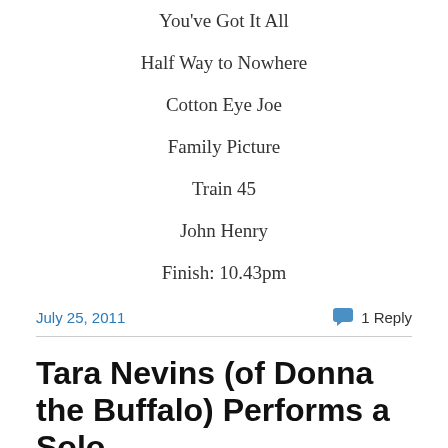You've Got It All
Half Way to Nowhere
Cotton Eye Joe
Family Picture
Train 45
John Henry
Finish: 10.43pm
July 25, 2011   1 Reply
Tara Nevins (of Donna the Buffalo) Performs a Solo